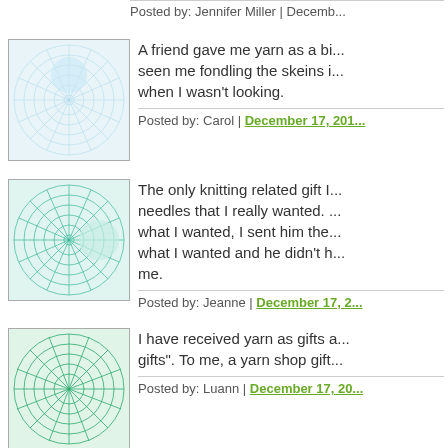Posted by: Jennifer Miller | December...
[Figure (photo): Avatar icon with blue circular pattern on white background]
A friend gave me yarn as a bi... seen me fondling the skeins i... when I wasn't looking.
Posted by: Carol | December 17, 201...
[Figure (photo): Avatar icon with teal/green spiral pattern]
The only knitting related gift I... needles that I really wanted. ... what I wanted, I sent him the... what I wanted and he didn't h... me.
Posted by: Jeanne | December 17, 2...
[Figure (photo): Avatar icon with green sunburst/spiral pattern]
I have received yarn as gifts a... gifts". To me, a yarn shop gift...
Posted by: Luann | December 17, 20...
[Figure (photo): Avatar icon with teal/green wave grid pattern]
Yes! I received the Sock Rule...